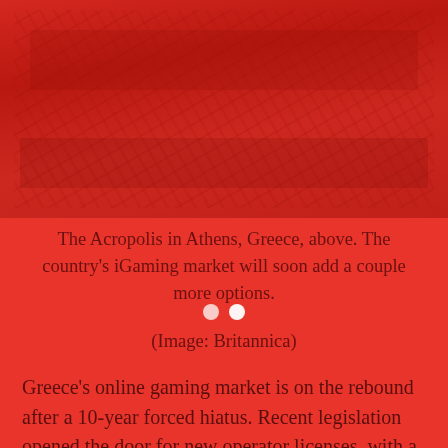[Figure (photo): Aerial/cityscape view of the Acropolis in Athens, Greece, with a red tinted overlay showing ancient ruins and city buildings.]
The Acropolis in Athens, Greece, above. The country's iGaming market will soon add a couple more options. (Image: Britannica)
Greece's online gaming market is on the rebound after a 10-year forced hiatus. Recent legislation opened the door for new operator licenses, with a number of companies, including Flutter Entertainment's PokerStars, already joining the